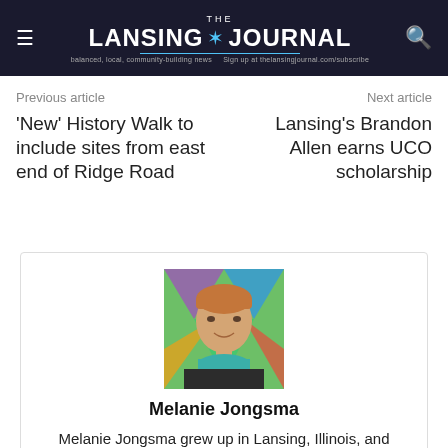THE LANSING JOURNAL
Previous article
Next article
'New' History Walk to include sites from east end of Ridge Road
Lansing's Brandon Allen earns UCO scholarship
[Figure (photo): Portrait photo of Melanie Jongsma against a colorful background]
Melanie Jongsma
Melanie Jongsma grew up in Lansing, Illinois, and believes The Lansing Journal has an important role to play in building community through trustworthy information.